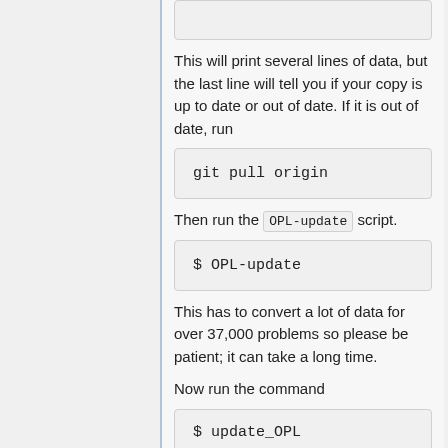[Figure (screenshot): Top partial code box (cut off at top of page)]
This will print several lines of data, but the last line will tell you if your copy is up to date or out of date. If it is out of date, run
[Figure (screenshot): Code block showing: git pull origin]
Then run the OPL-update script.
[Figure (screenshot): Code block showing: $ OPL-update]
This has to convert a lot of data for over 37,000 problems so please be patient; it can take a long time.
Now run the command
[Figure (screenshot): Code block showing (partial): $ update_OPL]